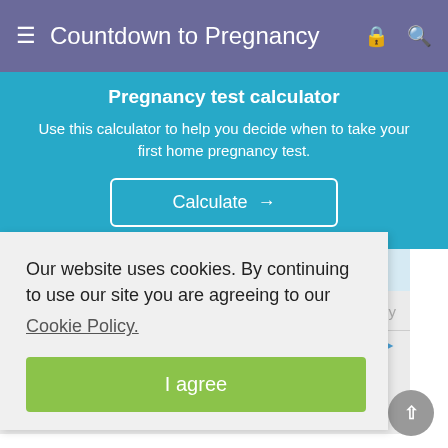Countdown to Pregnancy
Pregnancy test calculator
Use this calculator to help you decide when to take your first home pregnancy test.
Calculate →
Our website uses cookies. By continuing to use our site you are agreeing to our Cookie Policy.
I agree
Replies Sort by
SouthernMama21
Vintage: damn, I thought one of us would get it. I'm feeling pretty sure that sf will show tomorrow or Tuesday myself. Just a feeling. I obviously hope I'm wrong but... It's easier to expect